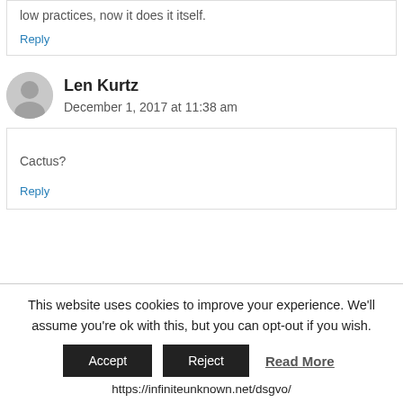low practices, now it does it itself.
Reply
Len Kurtz
December 1, 2017 at 11:38 am
Cactus?
Reply
This website uses cookies to improve your experience. We'll assume you're ok with this, but you can opt-out if you wish.
Accept
Reject
Read More
https://infiniteunknown.net/dsgvo/